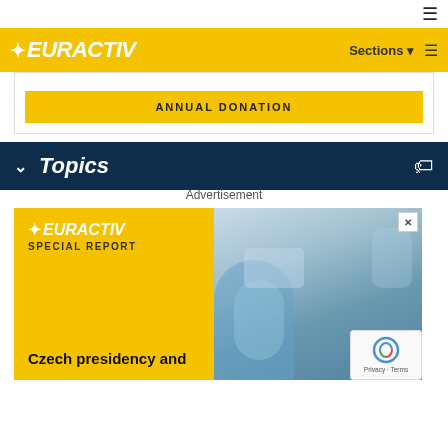EURACTIV — navigation bar with Sections and menu
ANNUAL DONATION
Topics
Advertisement
[Figure (screenshot): EURACTIV Special Report advertisement banner showing 'Czech presidency and' text with laboratory/science photo background]